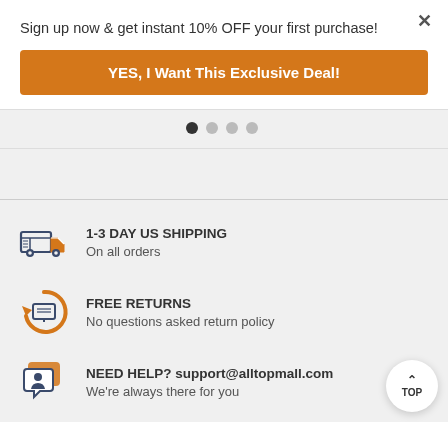Sign up now & get instant 10% OFF your first purchase!
YES, I Want This Exclusive Deal!
[Figure (infographic): Navigation dots row — one dark dot active, three gray dots]
[Figure (infographic): Shipping truck icon with orange color]
1-3 DAY US SHIPPING
On all orders
[Figure (infographic): Free returns circular arrow icon with orange color]
FREE RETURNS
No questions asked return policy
[Figure (infographic): Chat bubble / help icon with orange and blue color]
NEED HELP? support@alltopmall.com
We're always there for you